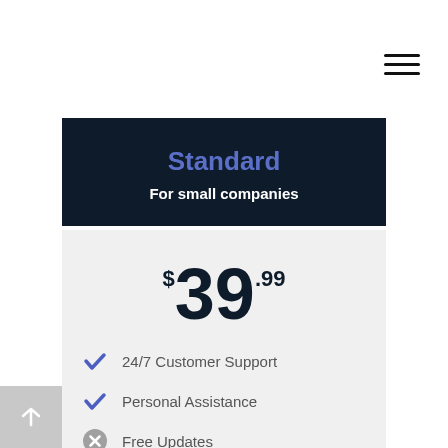Standard
For small companies
$39.99
24/7 Customer Support
Personal Assistance
Free Updates